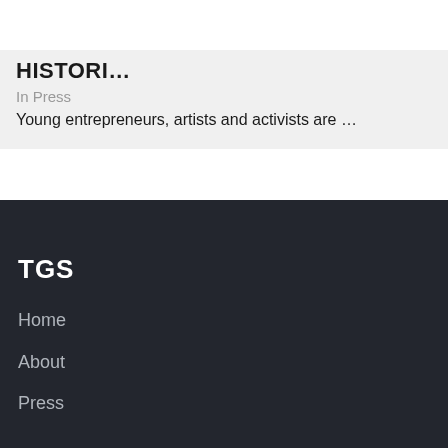THE GATHERING SPOT
HISTORI…
In Press
Young entrepreneurs, artists and activists are …
TGS
Home
About
Press